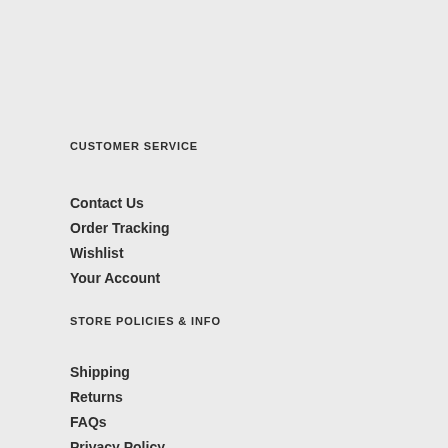CUSTOMER SERVICE
Contact Us
Order Tracking
Wishlist
Your Account
STORE POLICIES & INFO
Shipping
Returns
FAQs
Privacy Policy